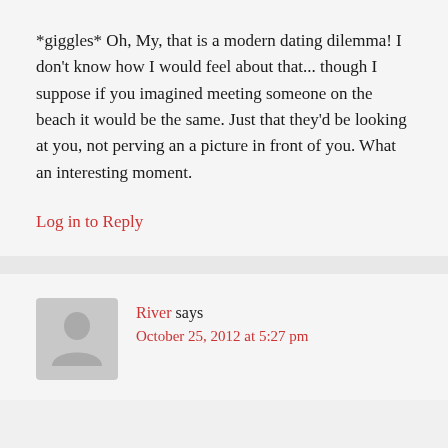*giggles* Oh, My, that is a modern dating dilemma! I don't know how I would feel about that... though I suppose if you imagined meeting someone on the beach it would be the same. Just that they'd be looking at you, not perving an a picture in front of you. What an interesting moment.
Log in to Reply
River says
October 25, 2012 at 5:27 pm